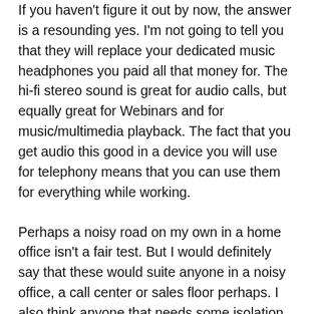If you haven't figure it out by now, the answer is a resounding yes.  I'm not going to tell you that they will replace your dedicated music headphones you paid all that money for.  The hi-fi stereo sound is great for audio calls, but equally great for Webinars and for music/multimedia playback.  The fact that you get audio this good in a device you will use for telephony means that you can use them for everything while working.
Perhaps a noisy road on my own in a home office isn't a fair test.  But I would definitely say that these would suite anyone in a noisy office, a call center or sales floor perhaps.  I also think anyone that needs some isolation to concentrate on a specific task.  The active noise cancelling technology and the in...